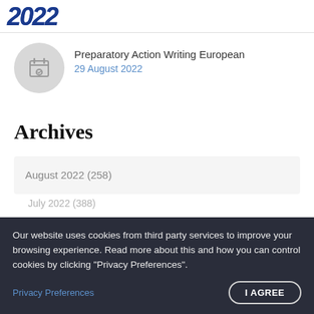2022
Preparatory Action Writing European
29 August 2022
Archives
August 2022 (258)
Our website uses cookies from third party services to improve your browsing experience. Read more about this and how you can control cookies by clicking "Privacy Preferences".
Privacy Preferences
I AGREE